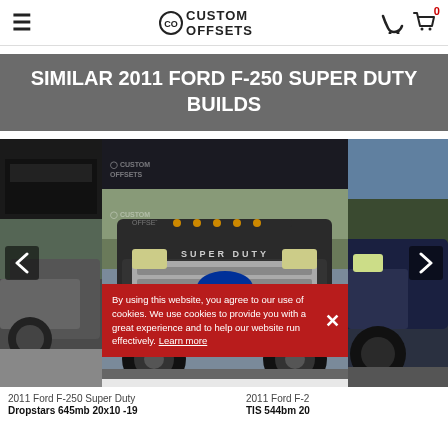Custom Offsets — navigation header with hamburger menu and cart icon
SIMILAR 2011 FORD F-250 SUPER DUTY BUILDS
[Figure (photo): Carousel of three 2011 Ford F-250 Super Duty truck builds. Center image shows a lifted black Ford F-250 Super Duty with chrome grille, viewed from the front. Left and right images are partially visible trucks. Cookie consent banner overlays the bottom of the center image reading: 'By using this website, you agree to our use of cookies. We use cookies to provide you with a great experience and to help our website run effectively. Learn more']
2011 Ford F-250 Super Duty Dropstars 645mb 20x10 -19
2011 Ford F-250 Super Duty TIS 544bm 20